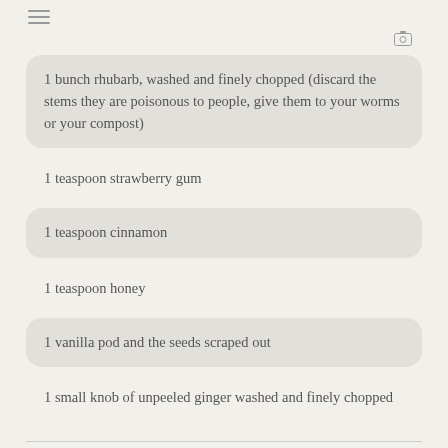1 bunch rhubarb, washed and finely chopped (discard the stems they are poisonous to people, give them to your worms or your compost)
1 teaspoon strawberry gum
1 teaspoon cinnamon
1 teaspoon honey
1 vanilla pod and the seeds scraped out
1 small knob of unpeeled ginger washed and finely chopped
INSTRUCTIONS
Combine all ingredients in a small